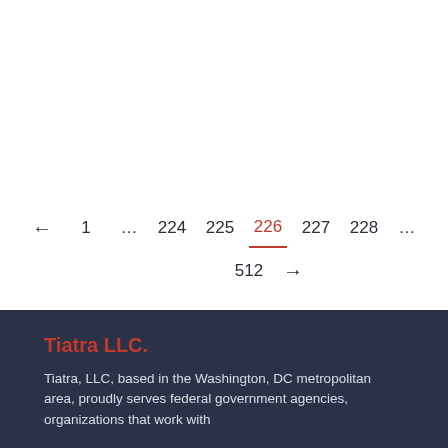← 1 … 224 225 226 227 228 … 512 →
Tiatra LLC.
Tiatra, LLC, based in the Washington, DC metropolitan area, proudly serves federal government agencies, organizations that work with